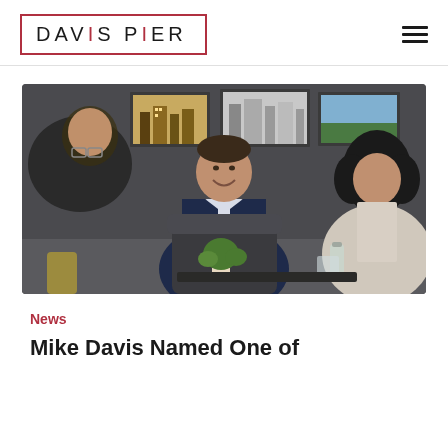DAVIS PIER
[Figure (photo): Three people having a meeting in an office lounge. A man in the center wearing a navy blazer is smiling, flanked by another person on the left and a woman with curly hair on the right. Artwork photos hang on the dark grey wall behind them. A small plant and water bottle are on the table.]
News
Mike Davis Named One of